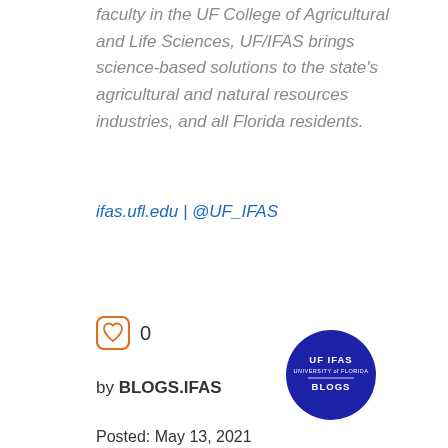faculty in the UF College of Agricultural and Life Sciences, UF/IFAS brings science-based solutions to the state's agricultural and natural resources industries, and all Florida residents.
ifas.ufl.edu | @UF_IFAS
0
by BLOGS.IFAS
[Figure (logo): UF IFAS Blogs circular logo in dark blue with white text]
Posted: May 13, 2021